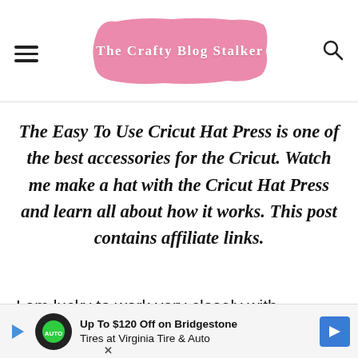The Crafty Blog Stalker
The Easy To Use Cricut Hat Press is one of the best accessories for the Cricut. Watch me make a hat with the Cricut Hat Press and learn all about how it works. This post contains affiliate links.
I am lucky to work very closely with
[Figure (other): Ad banner: Up To $120 Off on Bridgestone Tires at Virginia Tire & Auto]